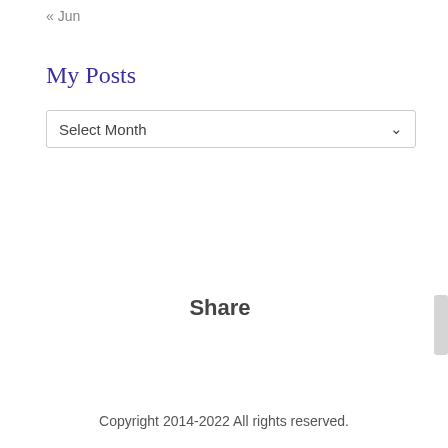« Jun
My Posts
Select Month
Share
Copyright 2014-2022 All rights reserved.